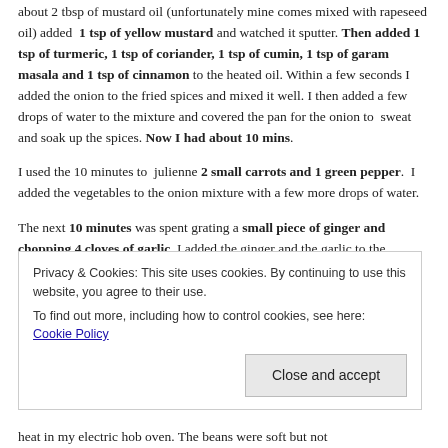about 2 tbsp of mustard oil (unfortunately mine comes mixed with rapeseed oil) added 1 tsp of yellow mustard and watched it sputter. Then added 1 tsp of turmeric, 1 tsp of coriander, 1 tsp of cumin, 1 tsp of garam masala and 1 tsp of cinnamon to the heated oil. Within a few seconds I added the onion to the fried spices and mixed it well. I then added a few drops of water to the mixture and covered the pan for the onion to sweat and soak up the spices. Now I had about 10 mins.
I used the 10 minutes to julienne 2 small carrots and 1 green pepper. I added the vegetables to the onion mixture with a few more drops of water.
The next 10 minutes was spent grating a small piece of ginger and chopping 4 cloves of garlic. I added the ginger and the garlic to the mixture and turned up the heat for a couple of
Privacy & Cookies: This site uses cookies. By continuing to use this website, you agree to their use.
To find out more, including how to control cookies, see here: Cookie Policy
heat in my electric hob oven. The beans were soft but not